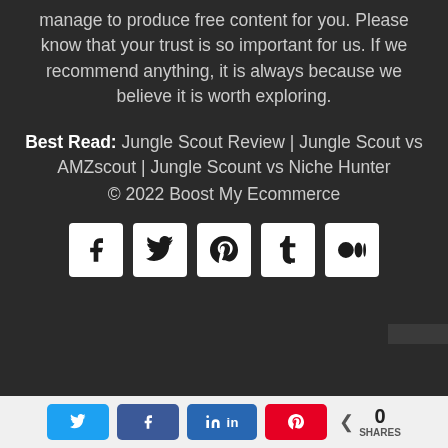manage to produce free content for you. Please know that your trust is so important for us. If we recommend anything, it is always because we believe it is worth exploring.
Best Read: Jungle Scout Review | Jungle Scout vs AMZscout | Jungle Scount vs Niche Hunter © 2022 Boost My Ecommerce
[Figure (other): Social media share icons: Facebook, Twitter, Pinterest, Tumblr, Medium — white square icon buttons on dark background]
[Figure (other): Bottom share bar with Twitter, Facebook, LinkedIn, Pinterest share buttons and a share count showing 0 SHARES]